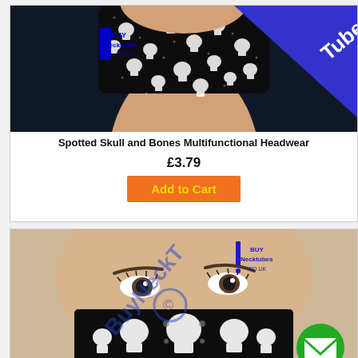[Figure (photo): Mannequin head wearing a black neck tube with white skull and bones pattern, with a blue 'Tube' banner and BuyNecktubes.co.uk logo]
Spotted Skull and Bones Multifunctional Headwear
£3.79
Add to Cart
[Figure (photo): Mannequin face wearing a black and white sugar skull pattern neck tube as a face covering, with BuyNecktubes.co.uk logo and a green email contact button]